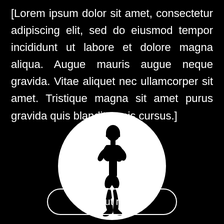[Lorem ipsum dolor sit amet, consectetur adipiscing elit, sed do eiusmod tempor incididunt ut labore et dolore magna aliqua. Augue mauris augue neque gravida. Vitae aliquet nec ullamcorper sit amet. Tristique magna sit amet purus gravida quis blandit turpis cursus.]
[Figure (illustration): A white circle on a black background containing a black silhouette of a standing woman with one hand on hip]
Find out more...